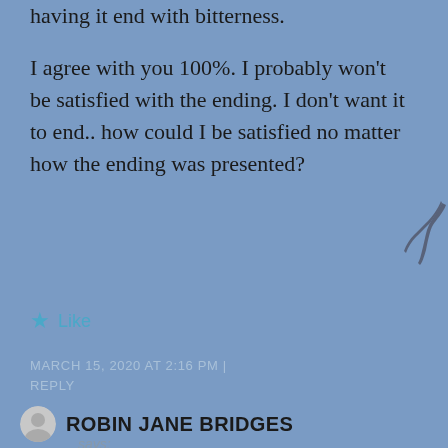having it end with bitterness.
I agree with you 100%. I probably won't be satisfied with the ending. I don't want it to end.. how could I be satisfied no matter how the ending was presented?
★ Like
MARCH 15, 2020 AT 2:16 PM | REPLY
ROBIN JANE BRIDGES says:
Ditto. Steve is definitely burn out. He just tired of people dying. Danny